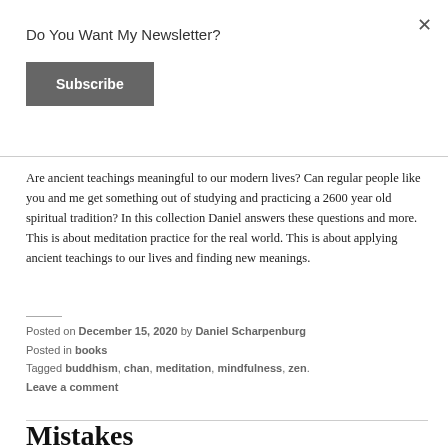Do You Want My Newsletter?
Subscribe
Are ancient teachings meaningful to our modern lives? Can regular people like you and me get something out of studying and practicing a 2600 year old spiritual tradition? In this collection Daniel answers these questions and more. This is about meditation practice for the real world. This is about applying ancient teachings to our lives and finding new meanings.
Posted on December 15, 2020 by Daniel Scharpenburg
Posted in books
Tagged buddhism, chan, meditation, mindfulness, zen.
Leave a comment
Mistakes